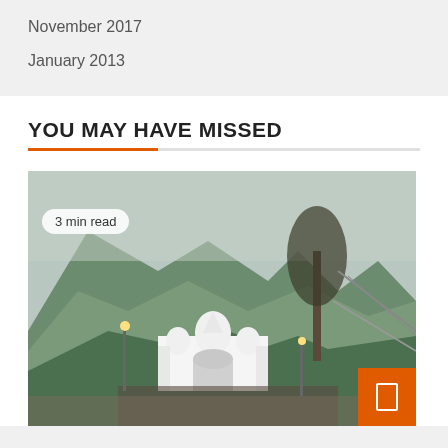November 2017
January 2013
YOU MAY HAVE MISSED
[Figure (photo): A white temple/gurudwara at the base of green mountains with a large bare tree on the right side. Crowds of people walking toward the temple entrance. Overcast sky. A badge reads '3 min read'. An orange button with a bookmark icon in the bottom-right corner.]